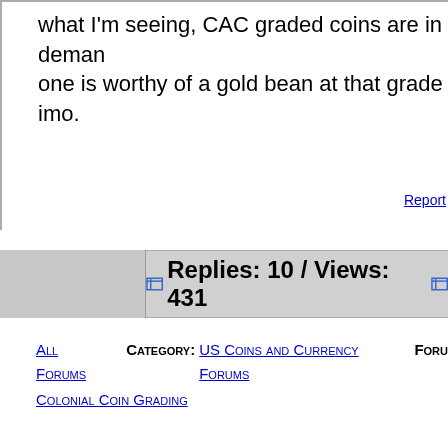what I'm seeing, CAC graded coins are in demand... one is worthy of a gold bean at that grade imo.
Report
Replies: 10 / Views: 431
All Forums  Category: US Coins and Currency Forums  Forum: Colonial Coin Grading